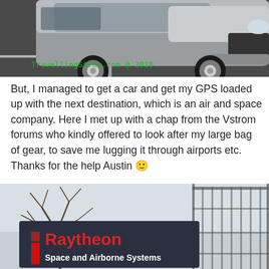[Figure (photo): Photo of a silver/grey car in a parking lot, shot from low angle showing the front wheel and grille. Green watermark text reads 'TravellingStrom.com @ 2010']
But, I managed to get a car and get my GPS loaded up with the next destination, which is an air and space company. Here I met up with a chap from the Vstrom forums who kindly offered to look after my large bag of gear, to save me lugging it through airports etc. Thanks for the help Austin 🙂
[Figure (photo): Photo of a Raytheon Space and Airborne Systems sign outside a building, with a bare tree and metal fence visible in the background. The sign has a red Raytheon logo and white text 'Space and Airborne Systems'.]